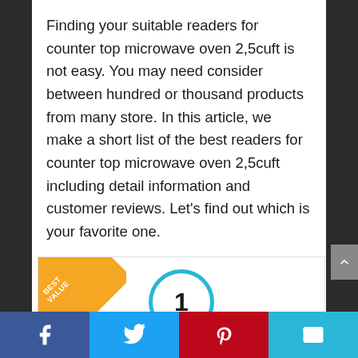Finding your suitable readers for counter top microwave oven 2,5cuft is not easy. You may need consider between hundred or thousand products from many store. In this article, we make a short list of the best readers for counter top microwave oven 2,5cuft including detail information and customer reviews. Let's find out which is your favorite one.
699 reviews analysed
[Figure (infographic): Product card with a 'BEST VALUE' diagonal banner in the top-left corner and a blue-bordered circle with the number 1 in the center.]